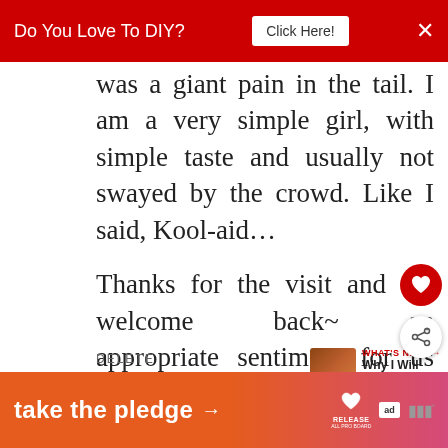Do You Love To DIY?  Click Here!  ×
was a giant pain in the tail. I am a very simple girl, with simple taste and usually not swayed by the crowd. Like I said, Kool-aid…

Thanks for the visit and the welcome back~ an appropriate sentiment for us both! xo
DELETE
REPLY
[Figure (infographic): Take the pledge advertisement banner with orange-to-pink gradient, arrow, Release logo, ad badge and dots]
WHAT'S NEXT → Why I Will Never Be A...